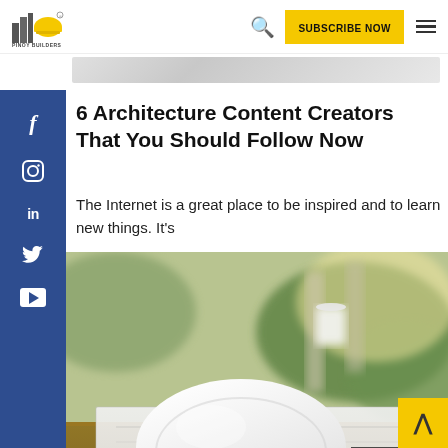[Figure (logo): Pinoy Builders logo with yellow hard hat and building icon, text PINOY BUILDERS below]
[Figure (screenshot): Subscribe Now yellow button and hamburger menu in website header]
[Figure (illustration): Light gray banner strip below header]
[Figure (infographic): Blue social media sidebar with Facebook, Instagram, LinkedIn, Twitter, YouTube icons]
6 Architecture Content Creators That You Should Follow Now
The Internet is a great place to be inspired and to learn new things. It's
[Figure (photo): White construction hard hat resting on architectural blueprints/drawings on a wooden surface, with a white coffee cup in background and green plants, warm sunlight]